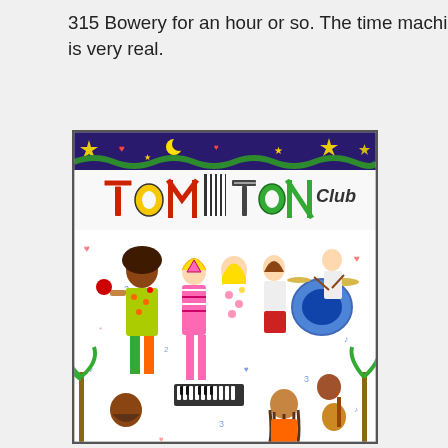315 Bowery for an hour or so. The time machine lust is very real.
[Figure (illustration): Colorful cartoon-style illustration of Tom Tom Club album cover featuring band members playing music with festive, busy artwork including palm trees, musical notes, hearts, stars, and the text 'Tom Tom Club' in large decorative letters]